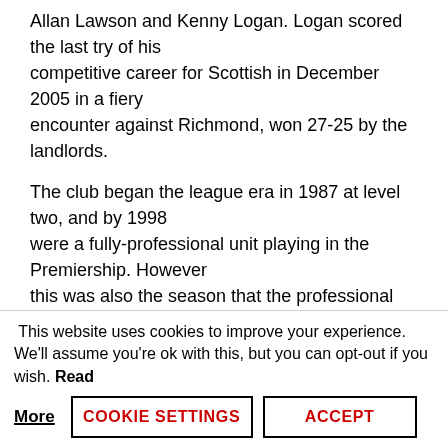Allan Lawson and Kenny Logan. Logan scored the last try of his competitive career for Scottish in December 2005 in a fiery encounter against Richmond, won 27-25 by the landlords.
The club began the league era in 1987 at level two, and by 1998 were a fully-professional unit playing in the Premiership. However this was also the season that the professional club went into administration, necessitating a year out while the original club was reformed and placed into Herts/ Middlesex Division One (level
This website uses cookies to improve your experience. We'll assume you're ok with this, but you can opt-out if you wish. Read More